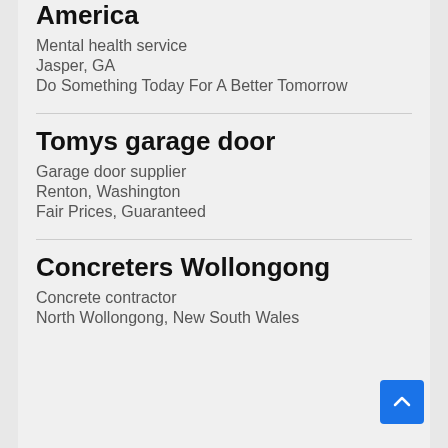America
Mental health service
Jasper, GA
Do Something Today For A Better Tomorrow
Tomys garage door
Garage door supplier
Renton, Washington
Fair Prices, Guaranteed
Concreters Wollongong
Concrete contractor
North Wollongong, New South Wales